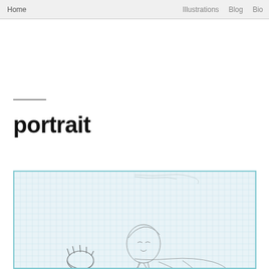Home    Illustrations    Blog    Bio
portrait
[Figure (illustration): A pencil sketch illustration showing a partially visible portrait drawing on graph/grid paper with a light blue border. The sketch appears to show a figure with a rounded head and some gestural lines, rendered in pencil on light blue-tinted grid paper.]